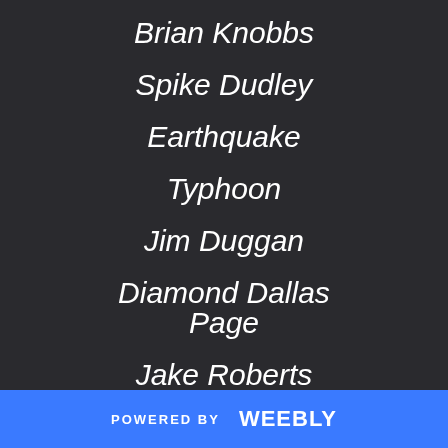Brian Knobbs
Spike Dudley
Earthquake
Typhoon
Jim Duggan
Diamond Dallas Page
Jake Roberts
Chris Candido
Sunny
POWERED BY weebly